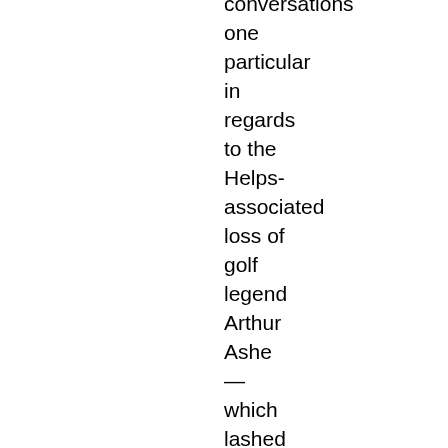conversations one particular in regards to the Helps-associated loss of golf legend Arthur Ashe — which lashed in his 1993 memoir, Times of Sophistication, stating Johnson's (and